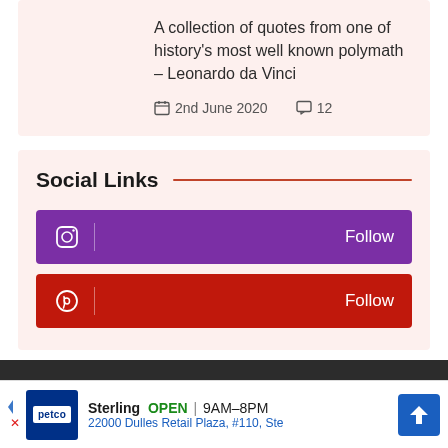A collection of quotes from one of history's most well known polymath – Leonardo da Vinci
2nd June 2020   12
Social Links
Follow (Instagram)
Follow (Pinterest)
[Figure (infographic): Advertisement bar with Petco logo, Sterling location open 9AM-8PM, address 22000 Dulles Retail Plaza, #110, Ste]